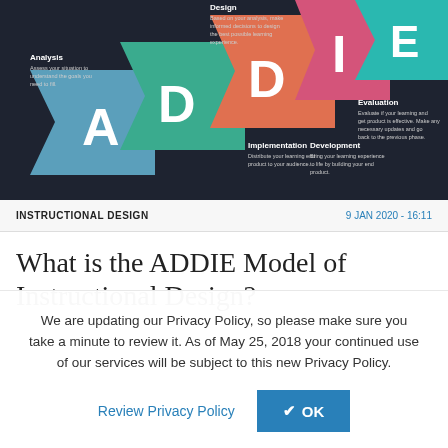[Figure (infographic): ADDIE Model infographic on dark background showing five colored arrow/chevron shapes labeled A (Analysis), D (Design), D (Development), I (Implementation), E (Evaluation) with brief descriptions for each phase.]
INSTRUCTIONAL DESIGN | 9 JAN 2020 - 16:11
What is the ADDIE Model of Instructional Design?
We are updating our Privacy Policy, so please make sure you take a minute to review it. As of May 25, 2018 your continued use of our services will be subject to this new Privacy Policy.